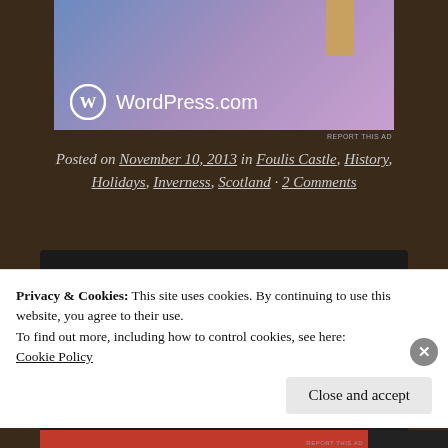[Figure (screenshot): WordPress.com advertisement banner with gradient blue-purple background]
REPORT THIS AD
Posted on November 10, 2013 in Foulis Castle, History, Holidays, Inverness, Scotland · 2 Comments
[Figure (illustration): Dark chalkboard section with a white swoosh line and partially visible text 'Home from home?']
Privacy & Cookies: This site uses cookies. By continuing to use this website, you agree to their use.
To find out more, including how to control cookies, see here:
Cookie Policy
Close and accept